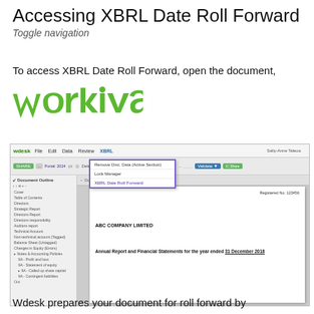Accessing XBRL Date Roll Forward Toggle navigation
To access XBRL Date Roll Forward, open the document,
[Figure (logo): Workiva logo in green]
[Figure (screenshot): Wdesk application screenshot showing XBRL > Advanced > XBRL Date Roll Forward menu option highlighted in purple border. Document outline sidebar visible on left. Main document area shows ABC COMPANY LIMITED with Annual Report and Financial Statements for the year ended 31 December 2018.]
Wdesk prepares your document for roll forward by